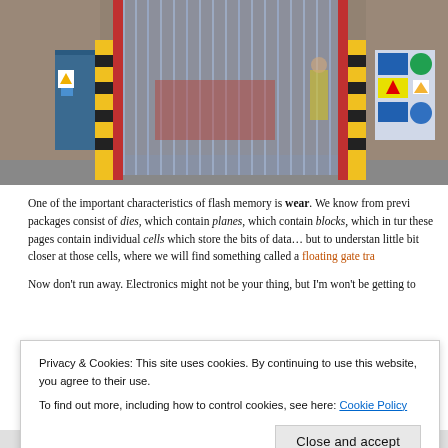[Figure (photo): Photograph of a warehouse loading bay entrance with translucent vertical strip curtains and yellow-black safety bollards, a blue door on the left with hazard warning signs, and safety signage on the right wall; a worker in a hi-vis vest is visible through the curtain.]
One of the important characteristics of flash memory is wear. We know from previous packages consist of dies, which contain planes, which contain blocks, which in turn these pages contain individual cells which store the bits of data… but to understand little bit closer at those cells, where we will find something called a floating gate tra
Now don't run away. Electronics might not be your thing, but I'm won't be getting to degree level education in Electronic Engineering but had to move to another course vars
Privacy & Cookies: This site uses cookies. By continuing to use this website, you agree to their use.
To find out more, including how to control cookies, see here: Cookie Policy
Close and accept